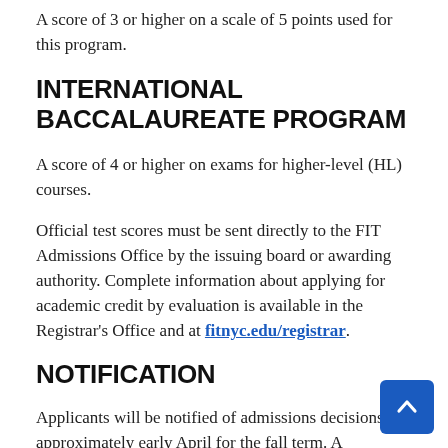A score of 3 or higher on a scale of 5 points used for this program.
INTERNATIONAL BACCALAUREATE PROGRAM
A score of 4 or higher on exams for higher-level (HL) courses.
Official test scores must be sent directly to the FIT Admissions Office by the issuing board or awarding authority. Complete information about applying for academic credit by evaluation is available in the Registrar's Office and at fitnyc.edu/registrar.
NOTIFICATION
Applicants will be notified of admissions decisions in approximately early April for the fall term. A nonrefundable tuition deposit of $150 is required of accepted applicants to secure their...